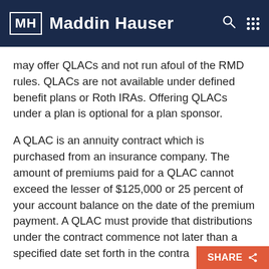MH Maddin Hauser
may offer QLACs and not run afoul of the RMD rules. QLACs are not available under defined benefit plans or Roth IRAs. Offering QLACs under a plan is optional for a plan sponsor.
A QLAC is an annuity contract which is purchased from an insurance company. The amount of premiums paid for a QLAC cannot exceed the lesser of $125,000 or 25 percent of your account balance on the date of the premium payment. A QLAC must provide that distributions under the contract commence not later than a specified date set forth in the contract